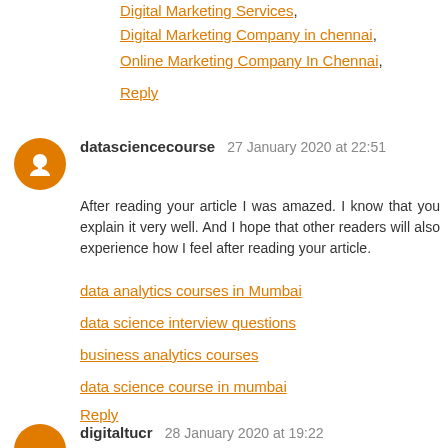Digital Marketing Services,
Digital Marketing Company in chennai,
Online Marketing Company In Chennai,
Reply
datasciencecourse 27 January 2020 at 22:51
After reading your article I was amazed. I know that you explain it very well. And I hope that other readers will also experience how I feel after reading your article.
data analytics courses in Mumbai
data science interview questions
business analytics courses
data science course in mumbai
Reply
digitaltucr 28 January 2020 at 19:22